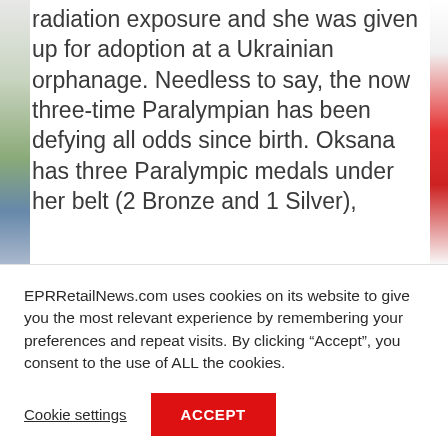radiation exposure and she was given up for adoption at a Ukrainian orphanage. Needless to say, the now three-time Paralympian has been defying all odds since birth. Oksana has three Paralympic medals under her belt (2 Bronze and 1 Silver),
EPRRetailNews.com uses cookies on its website to give you the most relevant experience by remembering your preferences and repeat visits. By clicking “Accept”, you consent to the use of ALL the cookies.